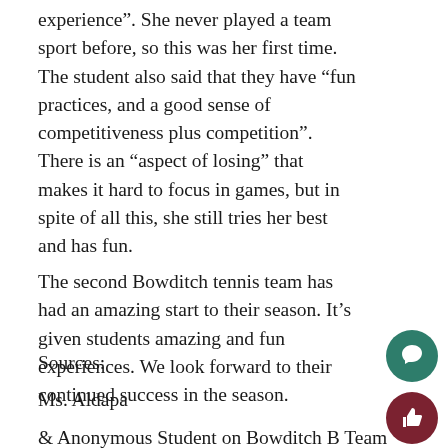experience”. She never played a team sport before, so this was her first time. The student also said that they have “fun practices, and a good sense of competitiveness plus competition”.  There is an “aspect of losing” that makes it hard to focus in games, but in spite of all this, she still tries her best and has fun.
The second Bowditch tennis team has had an amazing start to their season. It’s given students amazing and fun experiences. We look forward to their continued success in the season.
Sources:
Ms. Aldapa
& Anonymous Student on Bowditch B Team